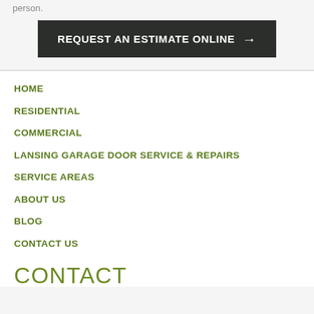person.
REQUEST AN ESTIMATE ONLINE →
HOME
RESIDENTIAL
COMMERCIAL
LANSING GARAGE DOOR SERVICE & REPAIRS
SERVICE AREAS
ABOUT US
BLOG
CONTACT US
CONTACT